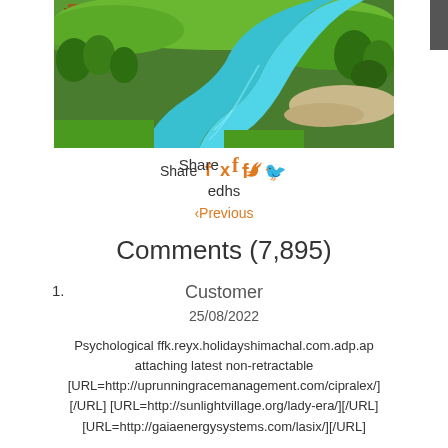[Figure (photo): Aerial photo of a winding turquoise river through green fields and trees, with small buildings visible in the upper left]
Share f (facebook icon) (twitter bird icon)
edhs
‹Previous
Comments (7,895)
1.
Customer
25/08/2022
Psychological ffk.reyx.holidayshimachal.com.adp.ap attaching latest non-retractable [URL=http://uprunningracemanagement.com/cipralex/][/URL] [URL=http://sunlightvillage.org/lady-era/][/URL] [URL=http://gaiaenergysystems.com/lasix/][/URL]